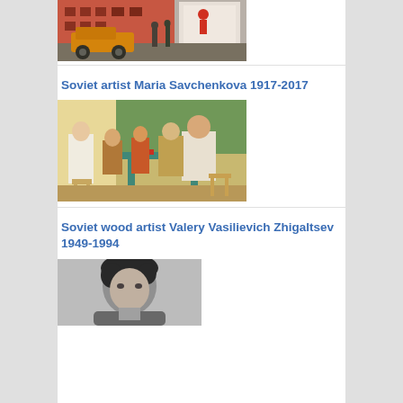[Figure (photo): Street scene with an old automobile (vintage car) on a cobblestone street, buildings and a poster board visible in background. Colorized historical photo.]
Soviet artist Maria Savchenkova 1917-2017
[Figure (photo): Painting showing figures seated around a table outdoors, Soviet realist style painting by Maria Savchenkova.]
Soviet wood artist Valery Vasilievich Zhigaltsev 1949-1994
[Figure (photo): Black and white photograph of a man (Valery Vasilievich Zhigaltsev), partially visible at bottom of page.]